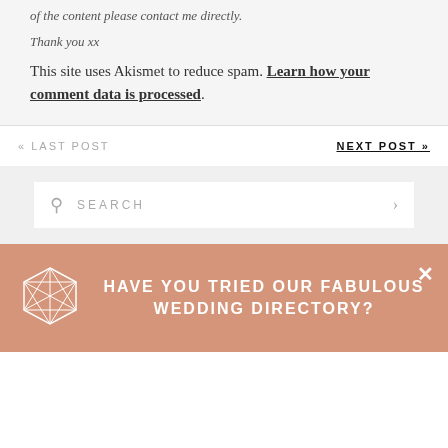of the content please contact me directly.
Thank you xx
This site uses Akismet to reduce spam. Learn how your comment data is processed.
« LAST POST
NEXT POST »
[Figure (other): Search box with magnifying glass icon, SEARCH placeholder text, and right arrow]
HAVE YOU TRIED OUR FABULOUS WEDDING DIRECTORY?